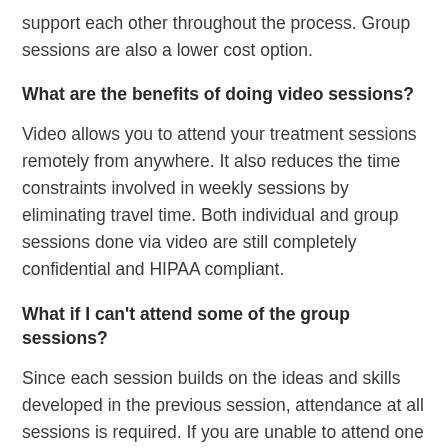support each other throughout the process. Group sessions are also a lower cost option.
What are the benefits of doing video sessions?
Video allows you to attend your treatment sessions remotely from anywhere. It also reduces the time constraints involved in weekly sessions by eliminating travel time. Both individual and group sessions done via video are still completely confidential and HIPAA compliant.
What if I can't attend some of the group sessions?
Since each session builds on the ideas and skills developed in the previous session, attendance at all sessions is required. If you are unable to attend one of the group